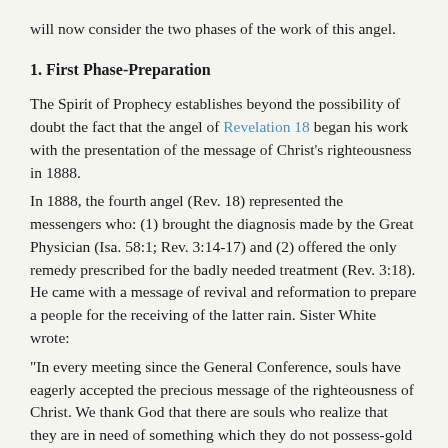will now consider the two phases of the work of this angel.
1. First Phase-Preparation
The Spirit of Prophecy establishes beyond the possibility of doubt the fact that the angel of Revelation 18 began his work with the presentation of the message of Christ's righteousness in 1888.
In 1888, the fourth angel (Rev. 18) represented the messengers who: (1) brought the diagnosis made by the Great Physician (Isa. 58:1; Rev. 3:14-17) and (2) offered the only remedy prescribed for the badly needed treatment (Rev. 3:18). He came with a message of revival and reformation to prepare a people for the receiving of the latter rain. Sister White wrote:
"In every meeting since the General Conference, souls have eagerly accepted the precious message of the righteousness of Christ. We thank God that there are souls who realize that they are in need of something which they do not possess-gold of faith and love, white raiment of Christ's righteousness,